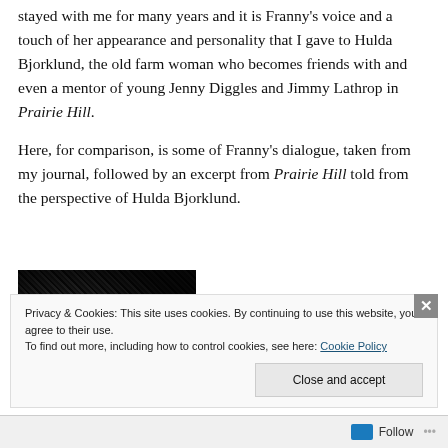stayed with me for many years and it is Franny's voice and a touch of her appearance and personality that I gave to Hulda Bjorklund, the old farm woman who becomes friends with and even a mentor of young Jenny Diggles and Jimmy Lathrop in Prairie Hill.
Here, for comparison, is some of Franny's dialogue, taken from my journal, followed by an excerpt from Prairie Hill told from the perspective of Hulda Bjorklund.
[Figure (photo): Black and white photo of a marbled composition notebook]
Privacy & Cookies: This site uses cookies. By continuing to use this website, you agree to their use. To find out more, including how to control cookies, see here: Cookie Policy
Close and accept
Follow